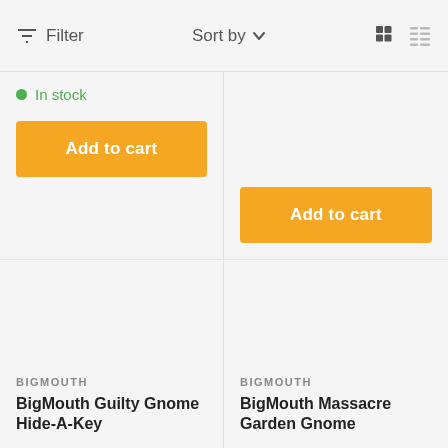Filter   Sort by   [grid icon] [list icon]
In stock
Add to cart
Add to cart
BIGMOUTH
BigMouth Guilty Gnome Hide-A-Key
BIGMOUTH
BigMouth Massacre Garden Gnome